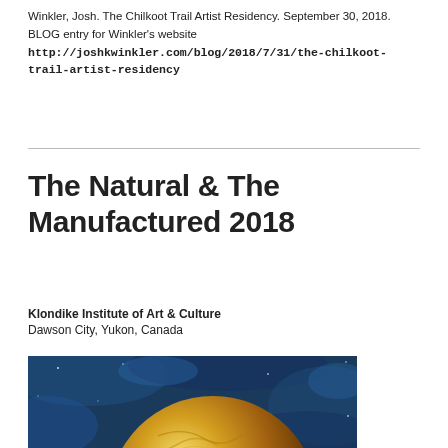Winkler, Josh. The Chilkoot Trail Artist Residency. September 30, 2018. BLOG entry for Winkler's website http://joshkwinkler.com/blog/2018/7/31/the-chilkoot-trail-artist-residency
The Natural & The Manufactured 2018
Klondike Institute of Art & Culture
Dawson City, Yukon, Canada
[Figure (photo): Partial view of a colorful artwork showing a golden spherical form against a blue textured background, possibly a planet or abstract circular shape in gold and blue tones.]